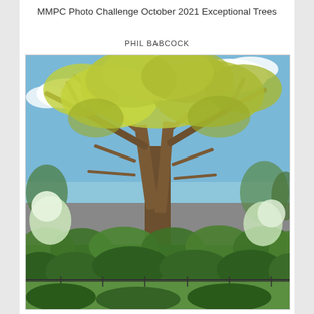MMPC Photo Challenge October 2021 Exceptional Trees
PHIL BABCOCK
[Figure (photo): A large, majestic tree with yellow-green foliage photographed against a bright blue sky with white clouds. The tree has multiple thick branches spreading wide. Below and around the tree is lush green garden vegetation, smaller trees, and a fence visible at the bottom of the image.]